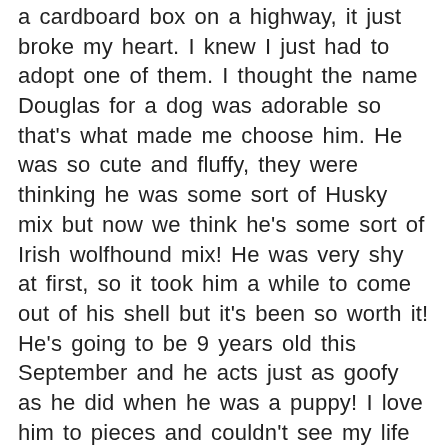a cardboard box on a highway, it just broke my heart. I knew I just had to adopt one of them. I thought the name Douglas for a dog was adorable so that's what made me choose him. He was so cute and fluffy, they were thinking he was some sort of Husky mix but now we think he's some sort of Irish wolfhound mix! He was very shy at first, so it took him a while to come out of his shell but it's been so worth it! He's going to be 9 years old this September and he acts just as goofy as he did when he was a puppy! I love him to pieces and couldn't see my life without him.
I want to thank SCARS for bringing him into my life and for all that they do for other animals!!! ?
I've attached some pictures when he was a puppy and recent ones!
Thanks so much! Have a good day!